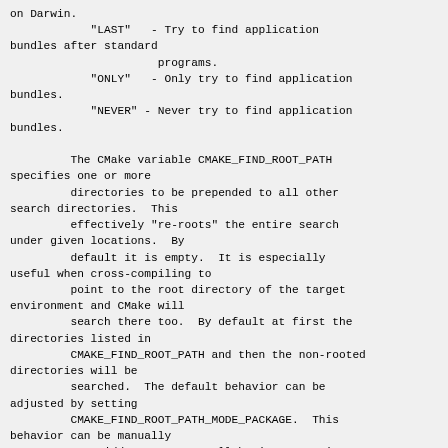on Darwin.
            "LAST"   - Try to find application bundles after standard
                      programs.
            "ONLY"   - Only try to find application bundles.
            "NEVER" - Never try to find application bundles.

         The CMake variable CMAKE_FIND_ROOT_PATH specifies one or more
         directories to be prepended to all other search directories.  This
         effectively "re-roots" the entire search under given locations.  By
         default it is empty.  It is especially useful when cross-compiling to
         point to the root directory of the target environment and CMake will
         search there too.  By default at first the directories listed in
         CMAKE_FIND_ROOT_PATH and then the non-rooted directories will be
         searched.  The default behavior can be adjusted by setting
         CMAKE_FIND_ROOT_PATH_MODE_PACKAGE.  This behavior can be manually
         overridden on a per-call basis.  By using CMAKE_FIND_ROOT_PATH_BOTH
         the search order will be as described above.  If
         NO_CMAKE_FIND_ROOT_PATH is used then
         CMAKE_FIND_ROOT_PATH will not be